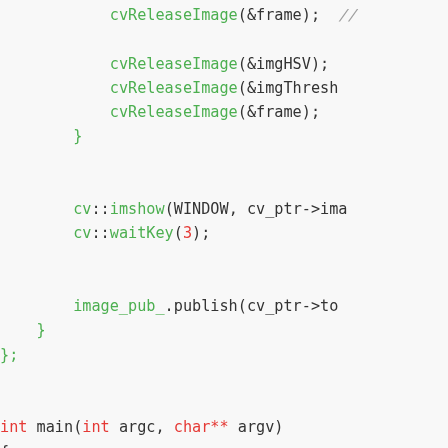[Figure (screenshot): Source code snippet in C++ with syntax highlighting showing cvReleaseImage calls, cv::imshow, cv::waitKey, image_pub_.publish, closing braces, and int main function with ros::init, ImageConverter, ros::spin, and return 0.]